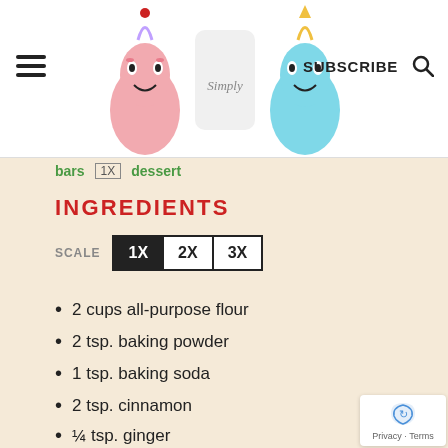SUBSCRIBE
bars  1X  dessert
INGREDIENTS
SCALE  1X  2X  3X
2 cups all-purpose flour
2 tsp. baking powder
1 tsp. baking soda
2 tsp. cinnamon
¼ tsp. ginger
1 tsp. salt